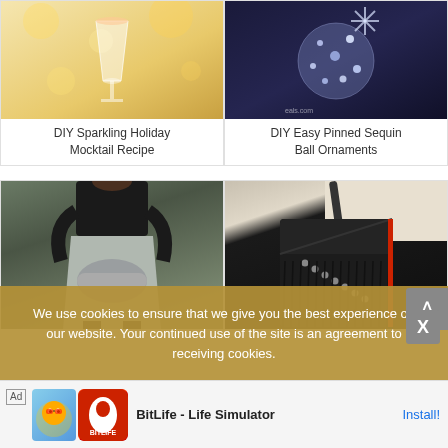[Figure (photo): Top portion of a DIY Sparkling Holiday Mocktail Recipe card with drink photo (partially cropped at top)]
DIY Sparkling Holiday Mocktail Recipe
[Figure (photo): Top portion of a DIY Easy Pinned Sequin Ball Ornaments card with dark ornament photo]
DIY Easy Pinned Sequin Ball Ornaments
[Figure (photo): DIY Skirt with Tied Sleeves - woman wearing grey skirt with tied sweatshirt sleeves]
DIY Skirt with Tied Sleeves
[Figure (photo): DIY Studded Fringed bag - black leather fringed bag with studs]
DIY Studded Fringed
We use cookies to ensure that we give you the best experience on our website. Your continued use of the site is an agreement to receiving cookies.
Ad  BitLife - Life Simulator  Install!